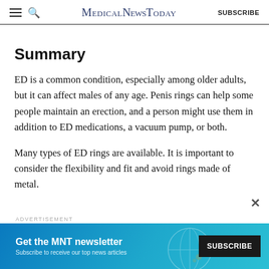MedicalNewsToday | SUBSCRIBE
Summary
ED is a common condition, especially among older adults, but it can affect males of any age. Penis rings can help some people maintain an erection, and a person might use them in addition to ED medications, a vacuum pump, or both.
Many types of ED rings are available. It is important to consider the flexibility and fit and avoid rings made of metal.
[Figure (other): Advertisement banner for MNT newsletter subscription with teal/blue gradient background, text 'Get the MNT newsletter' and 'Subscribe to receive our top news articles', with a black SUBSCRIBE button]